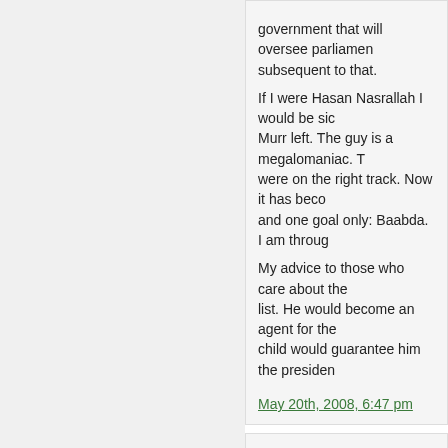government that will oversee parliament and subsequent to that.

If I were Hasan Nasrallah I would be sick of Murr left. The guy is a megalomaniac. Things were on the right track. Now it has become one and one goal only: Baabda. I am through...

My advice to those who care about the list. He would become an agent for the child would guarantee him the presiden...
May 20th, 2008, 6:47 pm
ANOTHERISRAELIGUY said:

QN,
Why is Aoun needed for an agreement? There are enough christians in the gove...

It will be interesting to see what Hizballa... they spit him out.

May 20th, 2008, 7:00 pm
QIFA NABKI said:

AIG

By this point, given Aoun's intransigence... fact, that is essentially what existed in 2... and PSD).